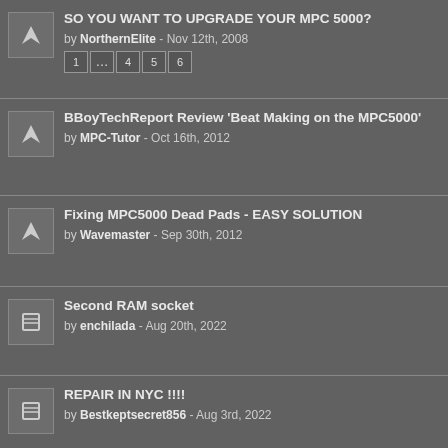SO YOU WANT TO UPGRADE YOUR MPC 5000? by NorthernElite - Nov 12th, 2008
BBoyTechReport Review 'Beat Making on the MPC5000' by MPC-Tutor - Oct 16th, 2012
Fixing MPC5000 Dead Pads - EASY SOLUTION by Wavemaster - Sep 30th, 2012
Second RAM socket by enchilada - Aug 20th, 2022
REPAIR IN NYC !!!! by Bestkeptsecret856 - Aug 3rd, 2022
Design and Build a New PSU for the Alesis Fusion & MPC 5000